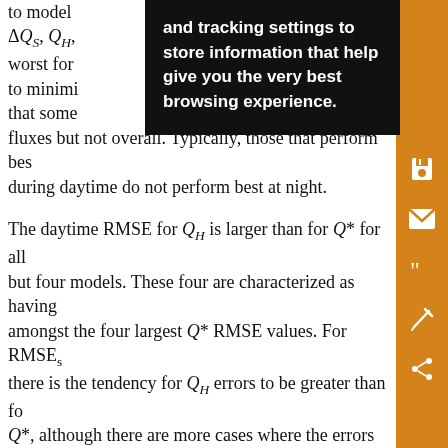to model [...] ΔQS, QH, [...] worst for [...] to minimi[ze] [...nce] that some[...] individu[al] fluxes but not overall. Typically, those that perform bes[t] during daytime do not perform best at night.
The daytime RMSE for Q_H is larger than for Q* for all but four models. These four are characterized as having amongst the four largest Q* RMSE values. For RMSE_s there is the tendency for Q_H errors to be greater than for Q*, although there are more cases where the errors are similar. The unsystematic errors are generally smaller than systematic errors, particularly for the most poorly performing models. For most models, Q_H has a positive MBE, which observational errors may contribute to.